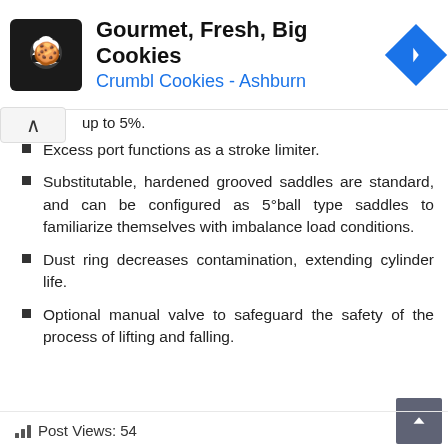[Figure (other): Ad banner for Crumbl Cookies - Ashburn with logo, title 'Gourmet, Fresh, Big Cookies', subtitle 'Crumbl Cookies - Ashburn', and navigation icon]
up to 5%.
Excess port functions as a stroke limiter.
Substitutable, hardened grooved saddles are standard, and can be configured as 5°ball type saddles to familiarize themselves with imbalance load conditions.
Dust ring decreases contamination, extending cylinder life.
Optional manual valve to safeguard the safety of the process of lifting and falling.
Post Views: 54